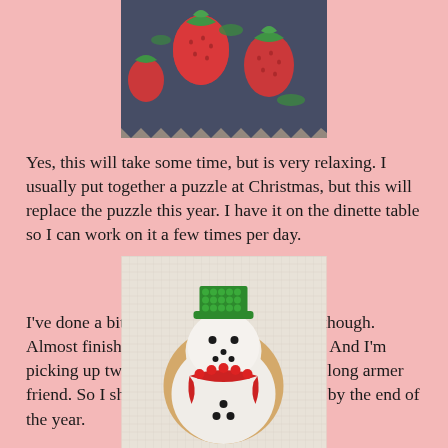[Figure (photo): Close-up photo of colorful fabric with red strawberries and dark floral print, partially wrapped in plastic]
Yes, this will take some time, but is very relaxing. I usually put together a puzzle at Christmas, but this will replace the puzzle this year. I have it on the dinette table so I can work on it a few times per day.
I've done a bit of sewing - only handwork though. Almost finished with my latest happy bird. And I'm picking up two more quilts today from my long armer friend. So I should have two more finishes by the end of the year.
[Figure (photo): Photo of a snowman-shaped cookie decorated with green hat, white icing body, red scarf, and black dot eyes and buttons, resting on a white cloth]